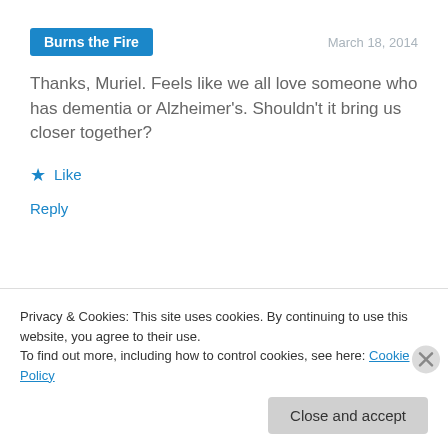Burns the Fire
March 18, 2014
Thanks, Muriel. Feels like we all love someone who has dementia or Alzheimer's. Shouldn't it bring us closer together?
Like
Reply
Muriel
March 24, 2014
Privacy & Cookies: This site uses cookies. By continuing to use this website, you agree to their use.
To find out more, including how to control cookies, see here: Cookie Policy
Close and accept